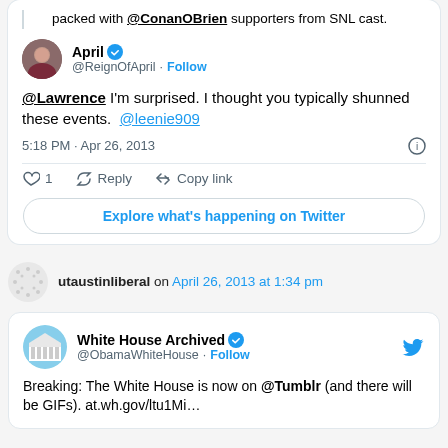packed with @ConanOBrien supporters from SNL cast.
April @ReignOfApril · Follow
@Lawrence I'm surprised. I thought you typically shunned these events.  @leenie909
5:18 PM · Apr 26, 2013
♡ 1   Reply   Copy link
Explore what's happening on Twitter
utaustinliberal on April 26, 2013 at 1:34 pm
White House Archived @ObamaWhiteHouse · Follow
Breaking: The White House is now on @Tumblr (and there will be GIFs). at.wh.gov/ltu1Mi...